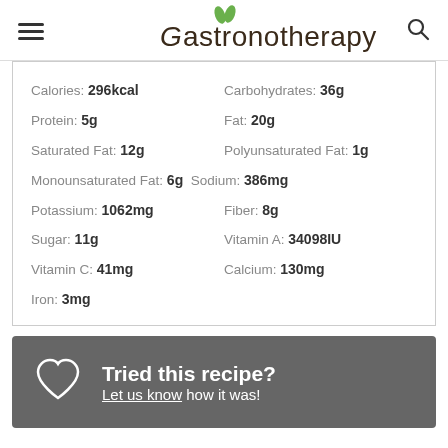Gastronotherapy
| Calories: 296kcal | Carbohydrates: 36g |
| Protein: 5g | Fat: 20g |
| Saturated Fat: 12g | Polyunsaturated Fat: 1g |
| Monounsaturated Fat: 6g | Sodium: 386mg |
| Potassium: 1062mg | Fiber: 8g |
| Sugar: 11g | Vitamin A: 34098IU |
| Vitamin C: 41mg | Calcium: 130mg |
| Iron: 3mg |  |
Tried this recipe? Let us know how it was!